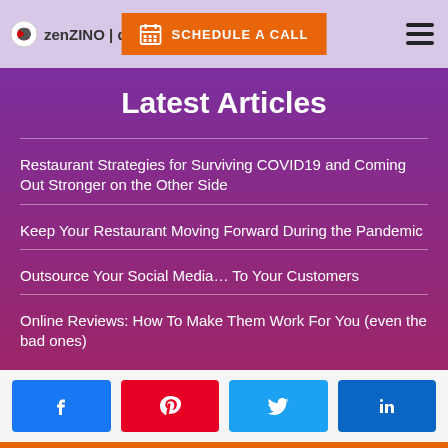zen ZINO | design — SCHEDULE A CALL
Latest Articles
Restaurant Strategies for Surviving COVID19 and Coming Out Stronger on the Other Side
Keep Your Restaurant Moving Forward During the Pandemic
Outsource Your Social Media… To Your Customers
Online Reviews: How To Make Them Work For You (even the bad ones)
[Figure (other): Social media share buttons: Facebook, Pinterest, Twitter, LinkedIn]